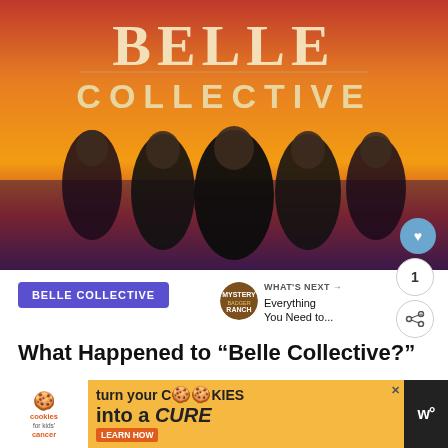[Figure (photo): Belle Collective TV show promotional image with five women in black outfits against a gradient orange/purple background, with the title BELLE COLLECTIVE in large decorative text at the top]
BELLE COLLECTIVE
WHAT'S NEXT → Everything You Need to...
What Happened to “Belle Collective?”
Jul
[Figure (other): Advertisement banner: cookies for kids' cancer - turn your cookies into a CURE LEARN HOW]